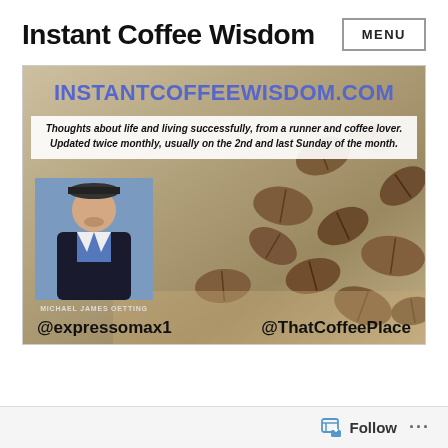Instant Coffee Wisdom
MENU
[Figure (screenshot): Banner image for InstantCoffeeWisdom.com showing coffee beans background, site URL in blue, tagline text box, portrait of Michael James Oetting, Twitter handles @expressomax1 and @ThatCoffeePlace]
Follow ...